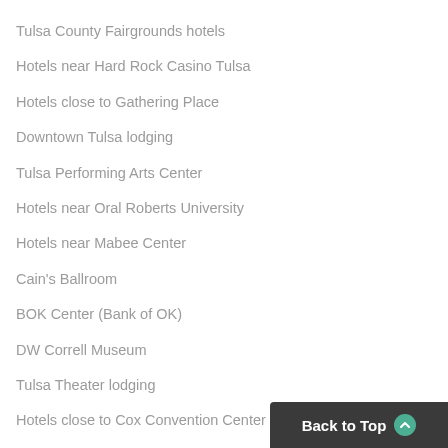Tulsa County Fairgrounds hotels
Hotels near Hard Rock Casino Tulsa
Hotels close to Gathering Place
Downtown Tulsa lodging
Tulsa Performing Arts Center
Hotels near Oral Roberts University
Hotels near Mabee Center
Cain's Ballroom
BOK Center (Bank of OK)
DW Correll Museum
Tulsa Theater lodging
Hotels close to Cox Convention Center
Hotels close to Redbud Valley Nature Preserve
River Spirit Casino